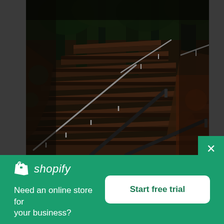[Figure (photo): Dark outdoor staircase made of dirt/stone with metal railings on both sides, surrounded by dark forest trees. The stairs lead upward. Photo taken from a low angle looking up.]
shopify
Need an online store for your business?
Start free trial